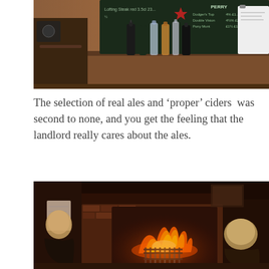[Figure (photo): Interior bar scene with bottles of spirits lined up on a wooden shelf, chalkboard menus visible in background listing ales, ciders and perry with prices]
The selection of real ales and ‘proper’ ciders  was second to none, and you get the feeling that the landlord really cares about the ales.
[Figure (photo): Cosy pub interior with a large open fireplace burning brightly with orange flames, two people (a woman with blonde hair on the left and another person on the right) sitting in front of the fire in a dark rustic setting]